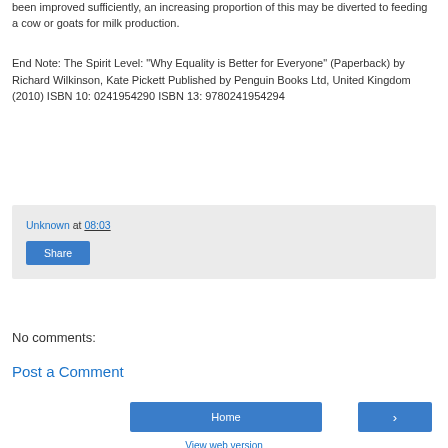been improved sufficiently, an increasing proportion of this may be diverted to feeding a cow or goats for milk production.
End Note: The Spirit Level: "Why Equality is Better for Everyone" (Paperback) by Richard Wilkinson, Kate Pickett Published by Penguin Books Ltd, United Kingdom (2010) ISBN 10: 0241954290 ISBN 13: 9780241954294
Unknown at 08:03
Share
No comments:
Post a Comment
Home
›
View web version